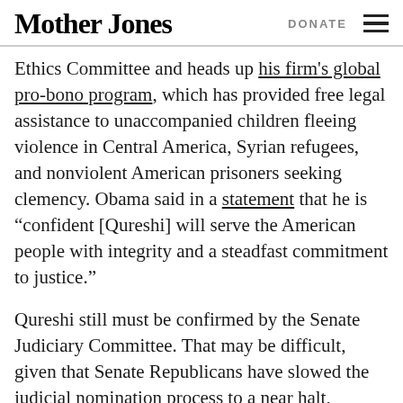Mother Jones | DONATE
Ethics Committee and heads up his firm's global pro-bono program, which has provided free legal assistance to unaccompanied children fleeing violence in Central America, Syrian refugees, and nonviolent American prisoners seeking clemency. Obama said in a statement that he is “confident [Qureshi] will serve the American people with integrity and a steadfast commitment to justice.”
Qureshi still must be confirmed by the Senate Judiciary Committee. That may be difficult, given that Senate Republicans have slowed the judicial nomination process to a near halt, creating vacancies in federal courthouses across the country. Qureshi is supposed to fill the seat of Rosemary M…